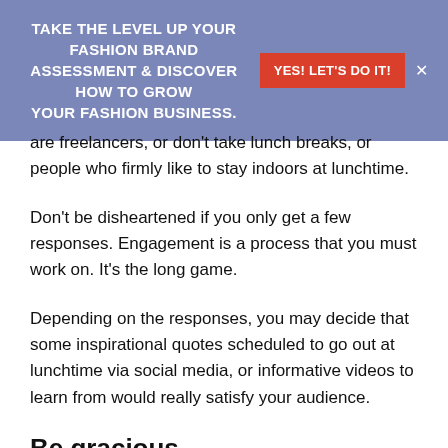TAKE THE LEVEL UP YOUR FASHION BRAND ASSESSMENT & DISCOVER HOW TO GROW YOUR FASHION BUSINESS. YES! LET'S DO IT!
are freelancers, or don't take lunch breaks, or people who firmly like to stay indoors at lunchtime.
Don't be disheartened if you only get a few responses. Engagement is a process that you must work on. It's the long game.
Depending on the responses, you may decide that some inspirational quotes scheduled to go out at lunchtime via social media, or informative videos to learn from would really satisfy your audience.
Be gracious